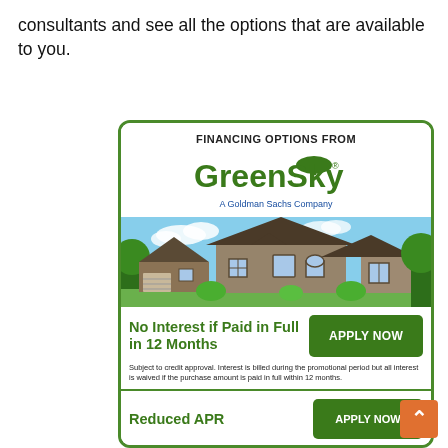consultants and see all the options that are available to you.
[Figure (infographic): GreenSky financing options advertisement card with green border, GreenSky logo (A Goldman Sachs Company), house photo, 'No Interest if Paid in Full in 12 Months' offer with APPLY NOW button, fine print about credit approval, and 'Reduced APR' offer with APPLY NOW button at bottom.]